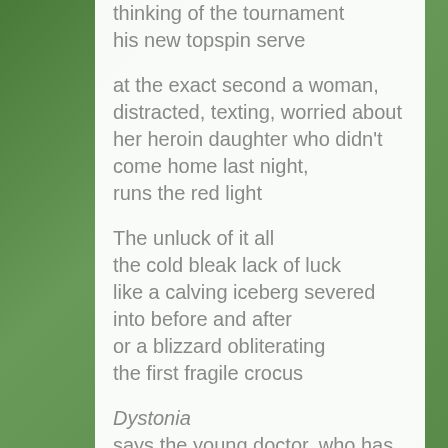thinking of the tournament
his new topspin serve

at the exact second a woman,
distracted, texting, worried about
her heroin daughter who didn't
come home last night,
runs the red light

The unluck of it all
the cold bleak lack of luck
like a calving iceberg severed
into before and after
or a blizzard obliterating
the first fragile crocus

Dystonia
says the young doctor, who has pimples